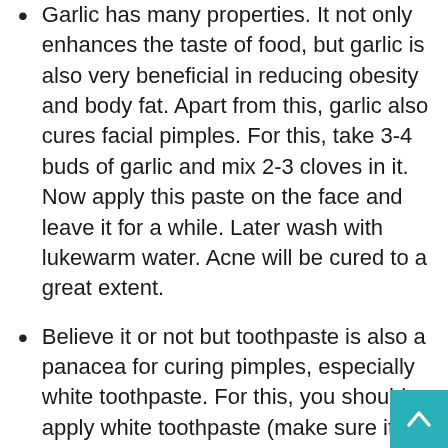Garlic has many properties. It not only enhances the taste of food, but garlic is also very beneficial in reducing obesity and body fat. Apart from this, garlic also cures facial pimples. For this, take 3-4 buds of garlic and mix 2-3 cloves in it. Now apply this paste on the face and leave it for a while. Later wash with lukewarm water. Acne will be cured to a great extent.
Believe it or not but toothpaste is also a panacea for curing pimples, especially white toothpaste. For this, you should apply white toothpaste (make sure it is not gel toothpaste) for half an hour and then wash face with clean water. Adopt the same technique for half an hour every day and then watch it.